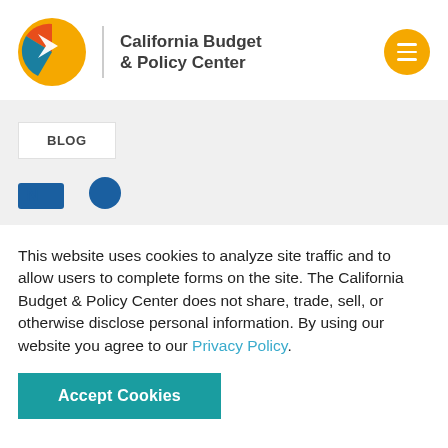[Figure (logo): California Budget & Policy Center logo with colorful pie-slice circle and organization name, plus a yellow/orange menu button]
BLOG
This website uses cookies to analyze site traffic and to allow users to complete forms on the site. The California Budget & Policy Center does not share, trade, sell, or otherwise disclose personal information. By using our website you agree to our Privacy Policy.